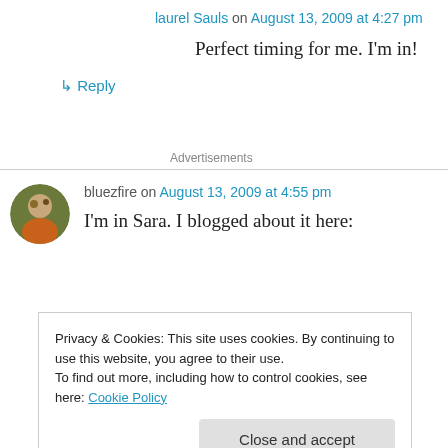laurel Sauls on August 13, 2009 at 4:27 pm
Perfect timing for me. I'm in!
↳ Reply
Advertisements
bluezfire on August 13, 2009 at 4:55 pm
I'm in Sara. I blogged about it here:
Privacy & Cookies: This site uses cookies. By continuing to use this website, you agree to their use.
To find out more, including how to control cookies, see here: Cookie Policy
Close and accept
KMH on August 13, 2009 at 7:53 pm